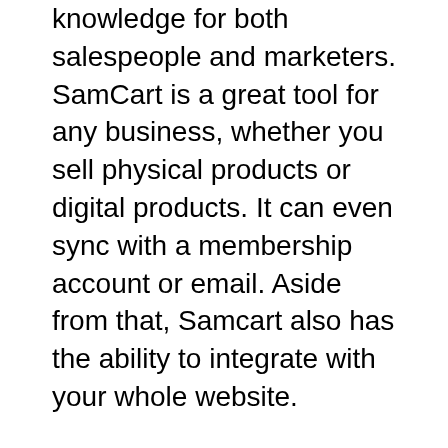knowledge for both salespeople and marketers. SamCart is a great tool for any business, whether you sell physical products or digital products. It can even sync with a membership account or email. Aside from that, Samcart also has the ability to integrate with your whole website.
Support is available to users via email and live chat. SamCart's knowledgebase is available to help you with any issues or questions you may have about the software. They have over one million members and are always ready to help. Aside from knowledge base, SamCart also offers a support forum where you can ask questions of other users. SamCart's help centre is available to assist you if you are having trouble setting up your